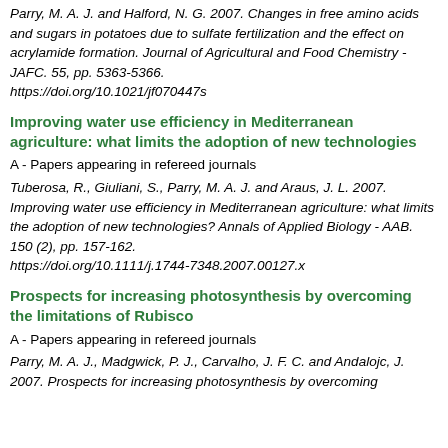Parry, M. A. J. and Halford, N. G. 2007. Changes in free amino acids and sugars in potatoes due to sulfate fertilization and the effect on acrylamide formation. Journal of Agricultural and Food Chemistry - JAFC. 55, pp. 5363-5366. https://doi.org/10.1021/jf070447s
Improving water use efficiency in Mediterranean agriculture: what limits the adoption of new technologies
A - Papers appearing in refereed journals
Tuberosa, R., Giuliani, S., Parry, M. A. J. and Araus, J. L. 2007. Improving water use efficiency in Mediterranean agriculture: what limits the adoption of new technologies? Annals of Applied Biology - AAB. 150 (2), pp. 157-162. https://doi.org/10.1111/j.1744-7348.2007.00127.x
Prospects for increasing photosynthesis by overcoming the limitations of Rubisco
A - Papers appearing in refereed journals
Parry, M. A. J., Madgwick, P. J., Carvalho, J. F. C. and Andalojc, J. 2007. Prospects for increasing photosynthesis by overcoming